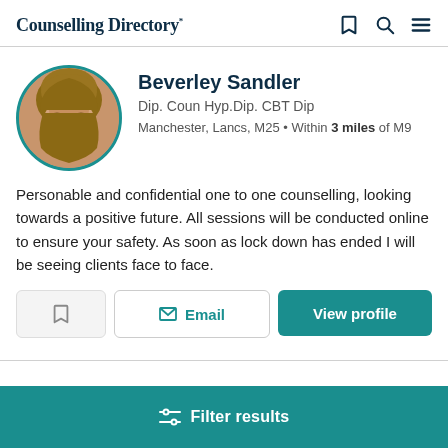Counselling Directory
[Figure (photo): Circular profile photo of Beverley Sandler, a woman with short blonde-brown hair]
Beverley Sandler
Dip. Coun Hyp.Dip. CBT Dip
Manchester, Lancs, M25 • Within 3 miles of M9
Personable and confidential one to one counselling, looking towards a positive future. All sessions will be conducted online to ensure your safety. As soon as lock down has ended I will be seeing clients face to face.
Email
View profile
Filter results